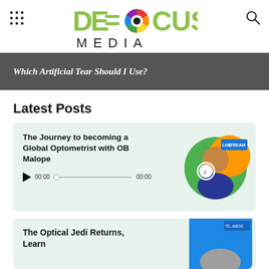DEFOCUS MEDIA
[Figure (screenshot): Screenshot of Defocus Media website showing header with logo, grid icon, search icon, and a banner with text 'Which Artificial Tear Should I Use?' and latest posts section]
Which Artificial Tear Should I Use?
Latest Posts
The Journey to becoming a Global Optometrist with OB Malope
00:00  00:00
The Optical Jedi Returns, Learn